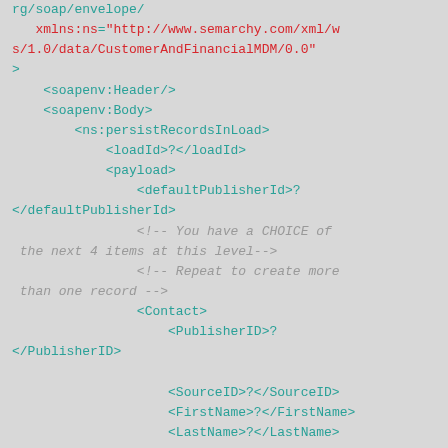[Figure (screenshot): XML/SOAP code snippet showing a SOAP envelope with namespace declarations, soapenv:Header, soapenv:Body, ns:persistRecordsInLoad elements, and child elements including loadId, payload, defaultPublisherId, Contact with PublisherID, SourceID, FirstName, LastName, and PublisherID_Customer, with XML comments indicating CHOICE and Repeat options.]